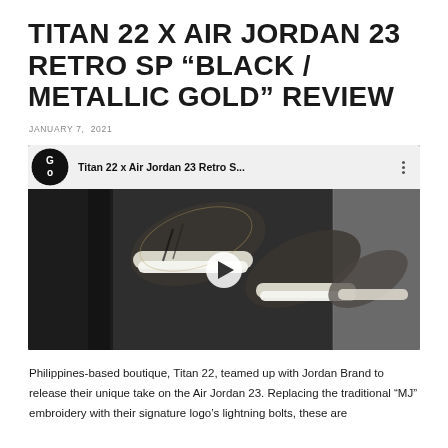TITAN 22 X AIR JORDAN 23 RETRO SP “BLACK / METALLIC GOLD” REVIEW
JANUARY 7, 2021
[Figure (screenshot): YouTube video embed thumbnail showing Air Jordan 23 sneakers with channel logo and video title 'Titan 22 x Air Jordan 23 Retro S...' with a play button overlay]
Philippines-based boutique, Titan 22, teamed up with Jordan Brand to release their unique take on the Air Jordan 23. Replacing the traditional “MJ” embroidery with their signature logo’s lightning bolts, these are